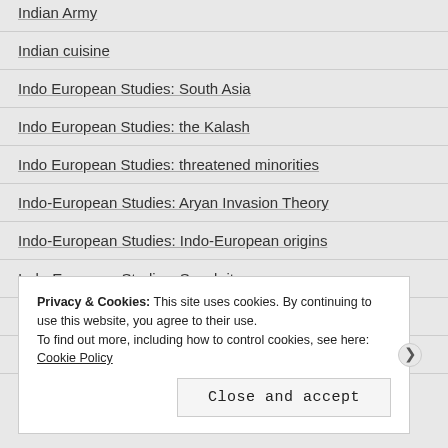Indian Army
Indian cuisine
Indo European Studies: South Asia
Indo European Studies: the Kalash
Indo European Studies: threatened minorities
Indo-European Studies: Aryan Invasion Theory
Indo-European Studies: Indo-European origins
Indo-European Studies: Sanskrit
Indo-European Studies: the Caste System
Indo-Pakistani Caste System
Privacy & Cookies: This site uses cookies. By continuing to use this website, you agree to their use.
To find out more, including how to control cookies, see here: Cookie Policy
Close and accept